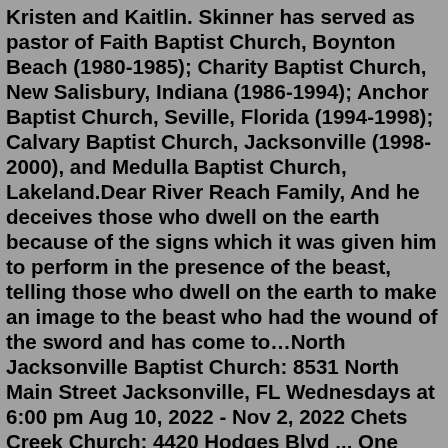Kristen and Kaitlin. Skinner has served as pastor of Faith Baptist Church, Boynton Beach (1980-1985); Charity Baptist Church, New Salisbury, Indiana (1986-1994); Anchor Baptist Church, Seville, Florida (1994-1998); Calvary Baptist Church, Jacksonville (1998-2000), and Medulla Baptist Church, Lakeland.Dear River Reach Family, And he deceives those who dwell on the earth because of the signs which it was given him to perform in the presence of the beast, telling those who dwell on the earth to make an image to the beast who had the wound of the sword and has come to…North Jacksonville Baptist Church: 8531 North Main Street Jacksonville, FL Wednesdays at 6:00 pm Aug 10, 2022 - Nov 2, 2022 Chets Creek Church: 4420 Hodges Blvd ... One Church Jacksonville Beach: 324 5th St N Jacksonville, FL Thursdays at 6:15 pm Aug 25, 2022 - Nov 17, 2022 Starting soon:OUR LOCATION Westside Baptist Church 7775 Herlong Road Jacksonville, FL 32210. CONTACT US Church Office: (904) 781-0619 Fax Line: (904) 786-5700